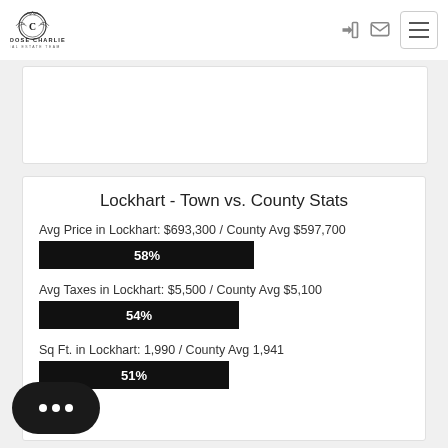[Figure (logo): Choose Charlie Real Estate Team logo with crest emblem]
Lockhart - Town vs. County Stats
Avg Price in Lockhart: $693,300 / County Avg $597,700
[Figure (bar-chart): Avg Price]
Avg Taxes in Lockhart: $5,500 / County Avg $5,100
[Figure (bar-chart): Avg Taxes]
Sq Ft. in Lockhart: 1,990 / County Avg 1,941
[Figure (bar-chart): Avg Sq Ft]